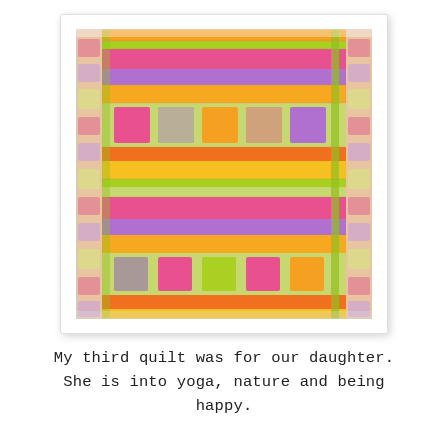[Figure (photo): A colorful patchwork quilt with horizontal stripes of pink, purple, orange, yellow, and green fabrics. Some sections have square patches with botanical/yoga symbols on a light green background. The quilt has a floral border on the sides.]
My third quilt was for our daughter. She is into yoga, nature and being happy.